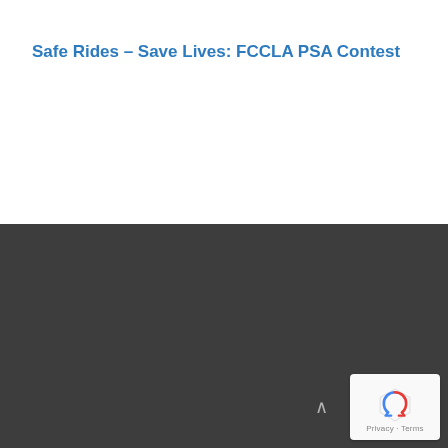Safe Rides – Save Lives: FCCLA PSA Contest
Colorado Community College System, CCCS.edu
Accessibility Web Accessibility Feedback
National FCCLA,
fcclainc.org